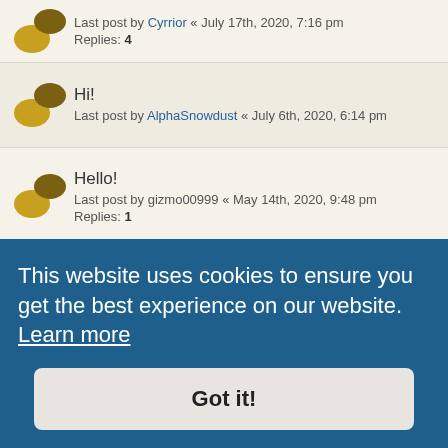Last post by Cyrrior « July 17th, 2020, 7:16 pm
Replies: 4
Hi!
Last post by AlphaSnowdust « July 6th, 2020, 6:14 pm
Hello!
Last post by gizmo00999 « May 14th, 2020, 9:48 pm
Replies: 1
Hello!
Last post by BvVeen « April 27th, 2020, 8:57 am
Replies: 1
Dark
Last post by BvVeen « April 14th, 2020, 6:35 pm
Replies: 1
This website uses cookies to ensure you get the best experience on our website. Learn more
Got it!